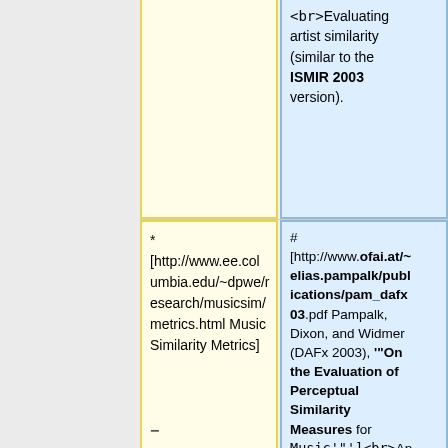<br>Evaluating artist similarity (similar to the ISMIR 2003 version).
* [http://www.ee.columbia.edu/~dpwe/research/musicsim/metrics.html Music Similarity Metrics]
# [http://www.ofai.at/~elias.pampalk/publications/pam_dafx03.pdf Pampalk, Dixon, and Widmer (DAFx 2003), """On the Evaluation of Perceptual Similarity Measures for Music"""]<br>An attempt was made to compare similarity measures published by different authors. Artist, album, tenor, style, and